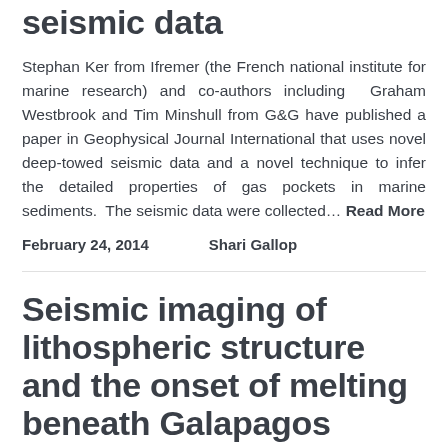seismic data
Stephan Ker from Ifremer (the French national institute for marine research) and co-authors including Graham Westbrook and Tim Minshull from G&G have published a paper in Geophysical Journal International that uses novel deep-towed seismic data and a novel technique to infer the detailed properties of gas pockets in marine sediments. The seismic data were collected… Read More
February 24, 2014    Shari Gallop
Seismic imaging of lithospheric structure and the onset of melting beneath Galapagos